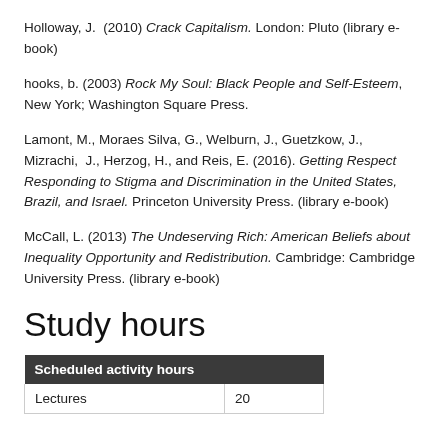Holloway, J. (2010) Crack Capitalism. London: Pluto (library e-book)
hooks, b. (2003) Rock My Soul: Black People and Self-Esteem, New York; Washington Square Press.
Lamont, M., Moraes Silva, G., Welburn, J., Guetzkow, J., Mizrachi, J., Herzog, H., and Reis, E. (2016). Getting Respect Responding to Stigma and Discrimination in the United States, Brazil, and Israel. Princeton University Press. (library e-book)
McCall, L. (2013) The Undeserving Rich: American Beliefs about Inequality Opportunity and Redistribution. Cambridge: Cambridge University Press. (library e-book)
Study hours
| Scheduled activity hours |  |
| --- | --- |
| Lectures | 20 |